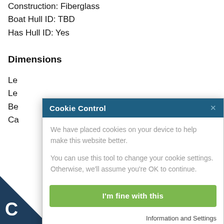Construction: Fiberglass
Boat Hull ID: TBD
Has Hull ID: Yes
Dimensions
Le...
Le...
Be...
Ca...
En...
En...
En...
[Figure (screenshot): Cookie Control modal dialog with header 'Cookie Control', an X close button, body text about cookies, 'I'm fine with this' green button, and footer links 'Information and Settings' and 'About our cookies'.]
Type: Inboard
Year: 2021
ne #2 Specs: